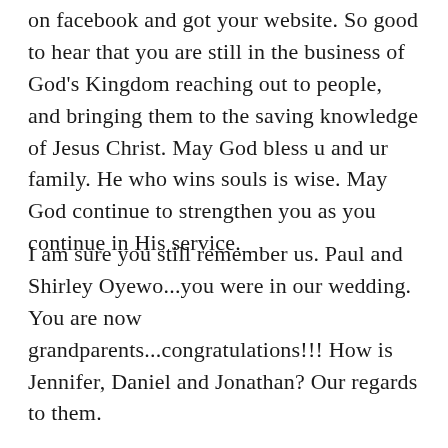on facebook and got your website. So good to hear that you are still in the business of God's Kingdom reaching out to people, and bringing them to the saving knowledge of Jesus Christ. May God bless u and ur family. He who wins souls is wise. May God continue to strengthen you as you continue in His service.
I am sure you still remember us. Paul and Shirley Oyewo...you were in our wedding. You are now grandparents...congratulations!!! How is Jennifer, Daniel and Jonathan? Our regards to them.